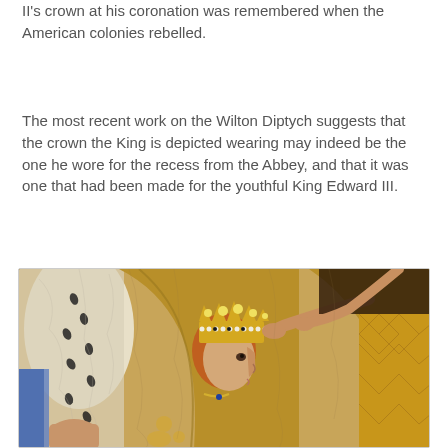II's crown at his coronation was remembered when the American colonies rebelled.
The most recent work on the Wilton Diptych suggests that the crown the King is depicted wearing may indeed be the one he wore for the recess from the Abbey, and that it was one that had been made for the youthful King Edward III.
[Figure (photo): Detail from the Wilton Diptych showing a young king wearing a golden jeweled crown and golden robes, depicted in profile facing right, surrounded by figures. The painting shows medieval style with cracked aged surface. The figure wears an ornate crown with pearls and gems, and elaborately decorated golden garments.]